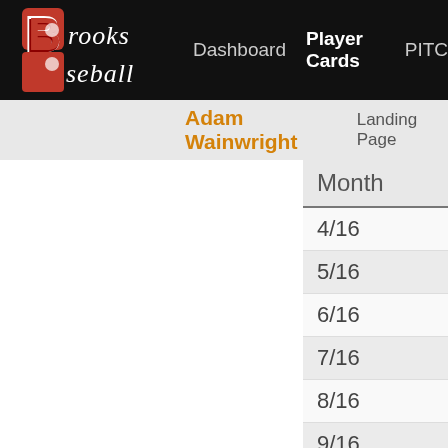Brooks Baseball — Dashboard | Player Cards | PITC
Adam Wainwright — Landing Page
| Month |
| --- |
| 4/16 |
| 5/16 |
| 6/16 |
| 7/16 |
| 8/16 |
| 9/16 |
| 10/16 |
| Month |
| 4/17 |